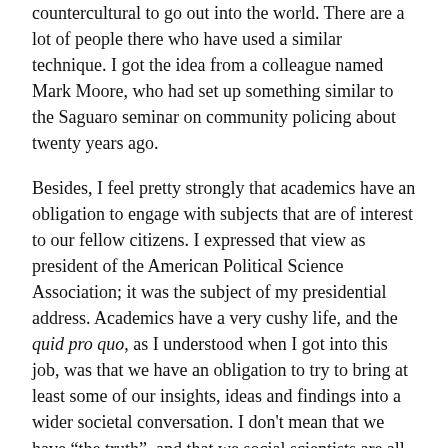countercultural to go out into the world. There are a lot of people there who have used a similar technique. I got the idea from a colleague named Mark Moore, who had set up something similar to the Saguaro seminar on community policing about twenty years ago.
Besides, I feel pretty strongly that academics have an obligation to engage with subjects that are of interest to our fellow citizens. I expressed that view as president of the American Political Science Association; it was the subject of my presidential address. Academics have a very cushy life, and the quid pro quo, as I understood when I got into this job, was that we have an obligation to try to bring at least some of our insights, ideas and findings into a wider societal conversation. I don't mean that we have “the truth”, and that we social scientists are all sublime philosophers looking down and telling a rabble of poor heathens how to fix things. That’s not my view at all. But we do gain a particular kind of insight from the work we do, and it’s useful for all concerned to engage with people who have different experiences, and see if your ideas can contribute to the conversation.